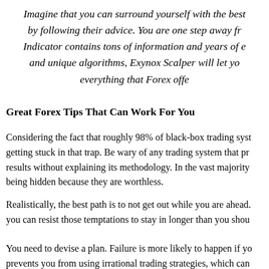Imagine that you can surround yourself with the best by following their advice. You are one step away fr... Indicator contains tons of information and years of e... and unique algorithms, Exynox Scalper will let yo... everything that Forex offe...
Great Forex Tips That Can Work For You
Considering the fact that roughly 98% of black-box trading syst... getting stuck in that trap. Be wary of any trading system that pr... results without explaining its methodology. In the vast majority being hidden because they are worthless.
Realistically, the best path is to not get out while you are ahead. you can resist those temptations to stay in longer than you shou...
You need to devise a plan. Failure is more likely to happen if yo... prevents you from using irrational trading strategies, which can...